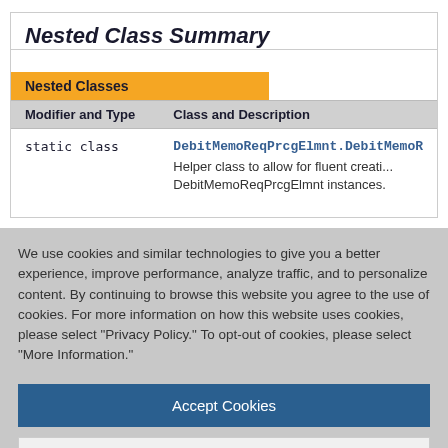Nested Class Summary
| Modifier and Type | Class and Description |
| --- | --- |
| static class | DebitMemoReqPrcgElmnt.DebitMemoR...
Helper class to allow for fluent creati... DebitMemoReqPrcgElmnt instances. |
We use cookies and similar technologies to give you a better experience, improve performance, analyze traffic, and to personalize content. By continuing to browse this website you agree to the use of cookies. For more information on how this website uses cookies, please select "Privacy Policy." To opt-out of cookies, please select "More Information."
Accept Cookies
More Information
Privacy Policy | Powered by: TrustArc